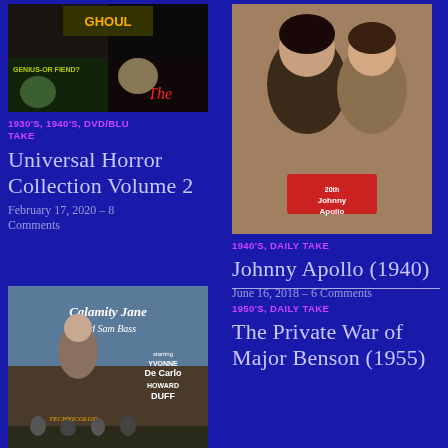[Figure (photo): Movie poster for Universal Horror Collection Volume 2 - collage of horror movie images including 'GENIUS OR FIEND?' and 'The']
1930'S, 1940'S, DVD/BLU TAKE
Universal Horror Collection Volume 2
February 17, 2020 – 8 Comments
[Figure (photo): Movie poster for Johnny Apollo (1940) - man and woman looking upward]
1940'S, DAILY TAKE
Johnny Apollo (1940)
June 16, 2018 – 6 Comments
[Figure (photo): Movie poster for Calamity Jane and Sam Bass - starring Yvonne De Carlo and Howard Duff, in Technicolor]
1950'S, DAILY TAKE
The Private War of Major Benson (1955)